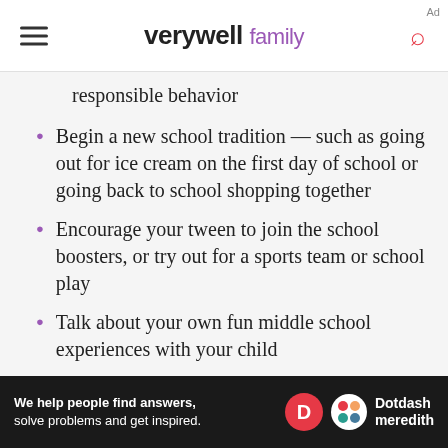verywell family
responsible behavior
Begin a new school tradition — such as going out for ice cream on the first day of school or going back to school shopping together
Encourage your tween to join the school boosters, or try out for a sports team or school play
Talk about your own fun middle school experiences with your child
Be positive and upbeat about change —
[Figure (other): Dotdash Meredith advertisement banner: 'We help people find answers, solve problems and get inspired.']